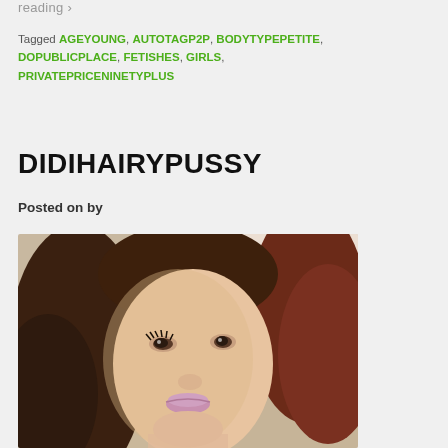reading >
Tagged AGEYOUNG, AUTOTAGP2P, BODYTYPEPETITE, DOPUBLICPLACE, FETISHES, GIRLS, PRIVATEPRICENINETYPLUS
DIDIHAIRYPUSSY
Posted on by
[Figure (photo): Portrait photo of a young woman with long dark reddish-brown hair, wearing light pink lipstick, lying on a cream/beige tufted surface, bright light in background]